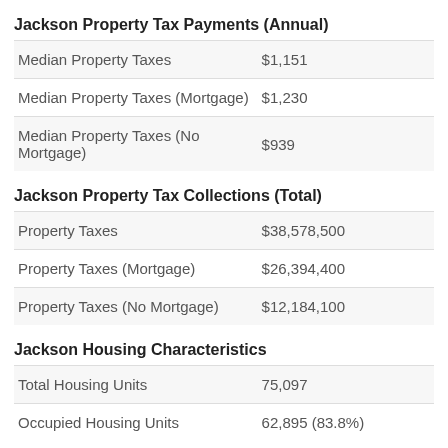Jackson Property Tax Payments (Annual)
|  |  |
| --- | --- |
| Median Property Taxes | $1,151 |
| Median Property Taxes (Mortgage) | $1,230 |
| Median Property Taxes (No Mortgage) | $939 |
Jackson Property Tax Collections (Total)
|  |  |
| --- | --- |
| Property Taxes | $38,578,500 |
| Property Taxes (Mortgage) | $26,394,400 |
| Property Taxes (No Mortgage) | $12,184,100 |
Jackson Housing Characteristics
|  |  |
| --- | --- |
| Total Housing Units | 75,097 |
| Occupied Housing Units | 62,895 (83.8%) |